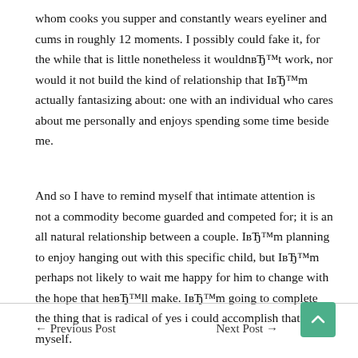whom cooks you supper and constantly wears eyeliner and cums in roughly 12 moments. I possibly could fake it, for the while that is little nonetheless it wouldnвЂ™t work, nor would it not build the kind of relationship that IвЂ™m actually fantasizing about: one with an individual who cares about me personally and enjoys spending some time beside me.
And so I have to remind myself that intimate attention is not a commodity become guarded and competed for; it is an all natural relationship between a couple. IвЂ™m planning to enjoy hanging out with this specific child, but IвЂ™m perhaps not likely to wait me happy for him to change with the hope that heвЂ™ll make. IвЂ™m going to complete the thing that is radical of yes i could accomplish that by myself.
← Previous Post    Next Post →